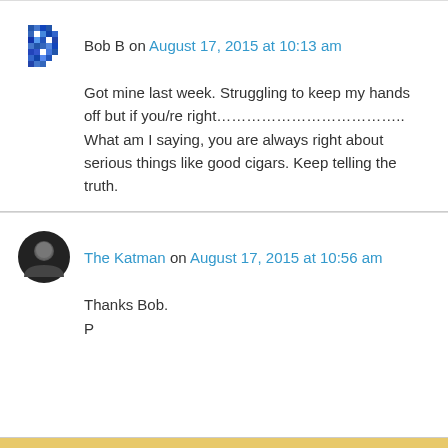[Figure (photo): Avatar icon for Bob B — blue pixel/mosaic style icon]
Bob B on August 17, 2015 at 10:13 am
Got mine last week. Struggling to keep my hands off but if you/re right……………………………….. What am I saying, you are always right about serious things like good cigars. Keep telling the truth.
[Figure (photo): Avatar icon for The Katman — dark circular photo avatar]
The Katman on August 17, 2015 at 10:56 am
Thanks Bob.
P